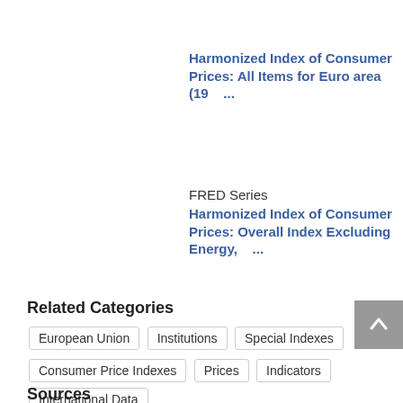Harmonized Index of Consumer Prices: All Items for Euro area (19 ...
FRED Series
Harmonized Index of Consumer Prices: Overall Index Excluding Energy, ...
Related Categories
European Union
Institutions
Special Indexes
Consumer Price Indexes
Prices
Indicators
International Data
Sources
More Releases from Eurostat